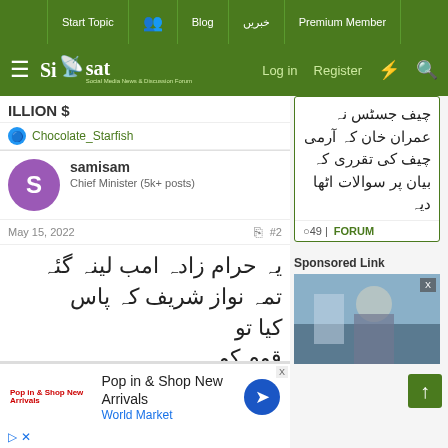Start Topic | [icon] | Blog | خبریں | Premium Member | Log in | Register
ILLION $
Chocolate_Starfish
samisam
Chief Minister (5k+ posts)
May 15, 2022  #2
یہ حرام زادہ امب لینہ گئہ
تمہ نواز شریف کہ پاس
کیا تو
قوم کو
چیف جسٹس نہ عمران خان کہ آرمی چیف کی تقرری کہ بیان پر سوالات اٹھا دیہ
○49 | FORUM
Sponsored Link
[Figure (photo): Sponsored link image showing outdoor scene]
Pop in & Shop New Arrivals
World Market